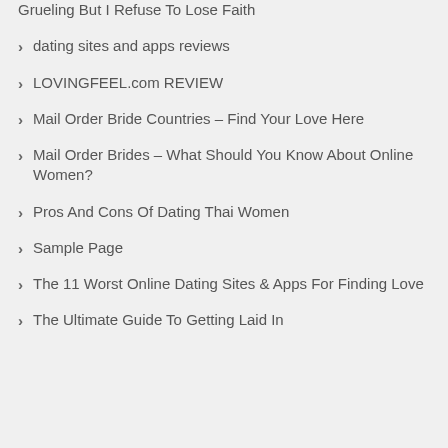Grueling But I Refuse To Lose Faith
dating sites and apps reviews
LOVINGFEEL.com REVIEW
Mail Order Bride Countries – Find Your Love Here
Mail Order Brides – What Should You Know About Online Women?
Pros And Cons Of Dating Thai Women
Sample Page
The 11 Worst Online Dating Sites & Apps For Finding Love
The Ultimate Guide To Getting Laid In